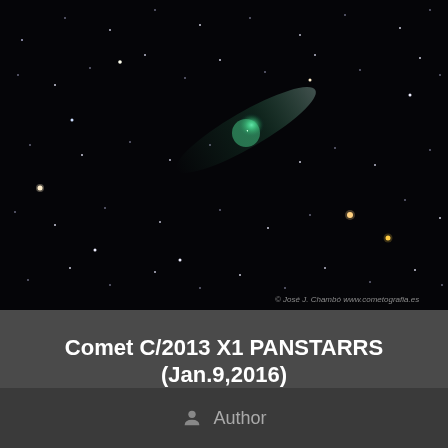[Figure (photo): Astronomy photograph of Comet C/2013 X1 PANSTARRS showing a green glowing comet nucleus against a dark starfield with scattered stars. Copyright notice: © José J. Chambó www.cometografia.es]
Comet C/2013 X1 PANSTARRS (Jan.9,2016)
Link: http://cometografia.es/2013x1-panstarrs-20160109/
Author